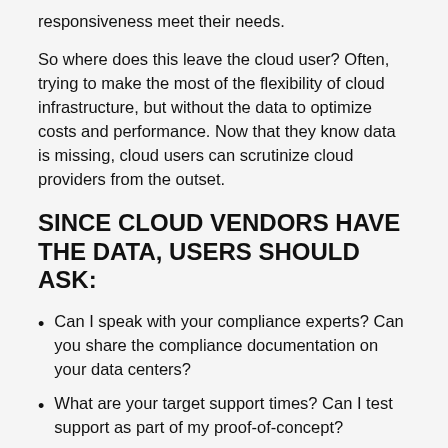responsiveness meet their needs.
So where does this leave the cloud user? Often, trying to make the most of the flexibility of cloud infrastructure, but without the data to optimize costs and performance. Now that they know data is missing, cloud users can scrutinize cloud providers from the outset.
SINCE CLOUD VENDORS HAVE THE DATA, USERS SHOULD ASK:
Can I speak with your compliance experts? Can you share the compliance documentation on your data centers?
What are your target support times? Can I test support as part of my proof-of-concept?